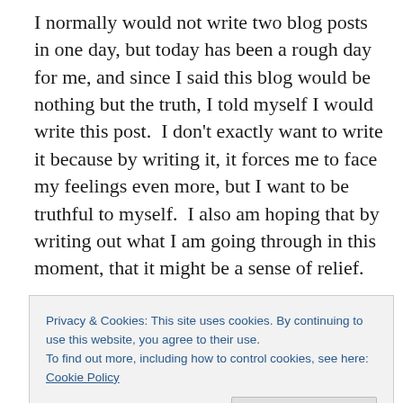I normally would not write two blog posts in one day, but today has been a rough day for me, and since I said this blog would be nothing but the truth, I told myself I would write this post.  I don't exactly want to write it because by writing it, it forces me to face my feelings even more, but I want to be truthful to myself.  I also am hoping that by writing out what I am going through in this moment, that it might be a sense of relief.
On Monday when I went to the nutritionist, she did not give me a meal plan (but to my disliking, she ensured me that
Privacy & Cookies: This site uses cookies. By continuing to use this website, you agree to their use.
To find out more, including how to control cookies, see here: Cookie Policy
was actually relieved that I walked out of her office pretty